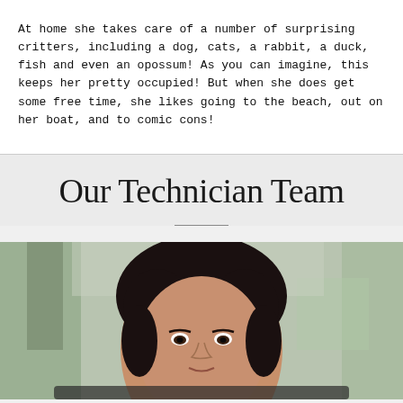At home she takes care of a number of surprising critters, including a dog, cats, a rabbit, a duck, fish and even an opossum! As you can imagine, this keeps her pretty occupied! But when she does get some free time, she likes going to the beach, out on her boat, and to comic cons!
Our Technician Team
[Figure (photo): Portrait photo of a woman with curly dark hair, looking at the camera, outdoors with blurred green background.]